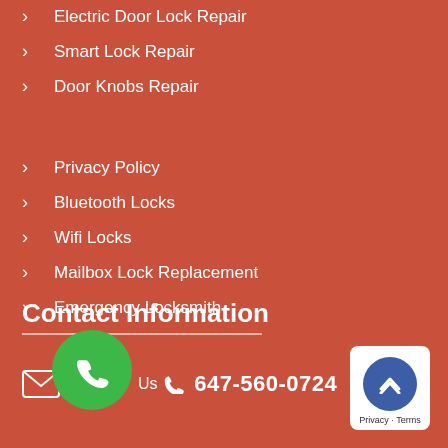Electric Door Lock Repair
Smart Lock Repair
Door Knobs Repair
Privacy Policy
Bluetooth Locks
Wifi Locks
Mailbox Lock Replacement
Emergency Locksmith
Contact Information
647-560-0724